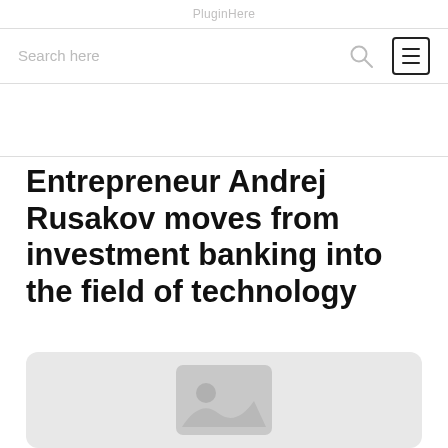Search here
Entrepreneur Andrej Rusakov moves from investment banking into the field of technology
[Figure (photo): Placeholder image with a grey background and an image icon in the center]